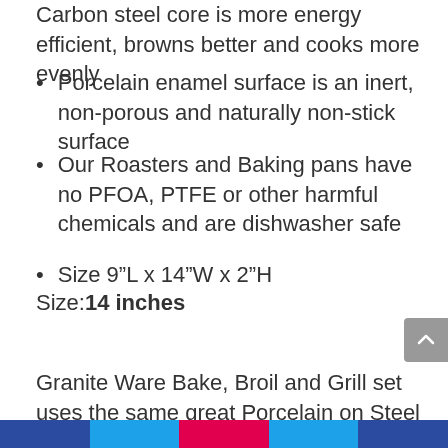Carbon steel core is more energy efficient, browns better and cooks more evenly
Porcelain enamel surface is an inert, non-porous and naturally non-stick surface
Our Roasters and Baking pans have no PFOA, PTFE or other harmful chemicals and are dishwasher safe
Size 9"L x 14"W x 2"H
Size: 14 inches
Granite Ware Bake, Broil and Grill set uses the same great Porcelain on Steel construction used in our famous Granite Ware Roasters. Porcelain on steel construction is stronger and better than foil pans. Porcelain is fused to the steel at